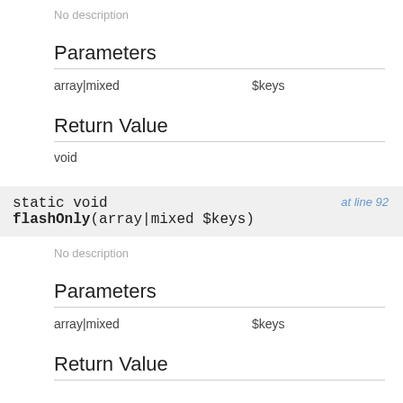No description
Parameters
|  |  |
| --- | --- |
| array|mixed | $keys |
Return Value
void
static void flashOnly(array|mixed $keys)  at line 92
No description
Parameters
|  |  |
| --- | --- |
| array|mixed | $keys |
Return Value